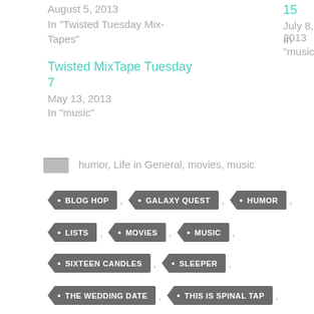August 5, 2013
In "Twisted Tuesday Mix-Tapes"
July 8, 2013
In "music"
Twisted MixTape Tuesday 7
May 13, 2013
In "music"
humor, Life in General, movies, music
BLOG HOP
GALAXY QUEST
HUMOR
LISTS
MOVIES
MUSIC
SIXTEEN CANDLES
SLEEPER
THE WEDDING DATE
THIS IS SPINAL TAP